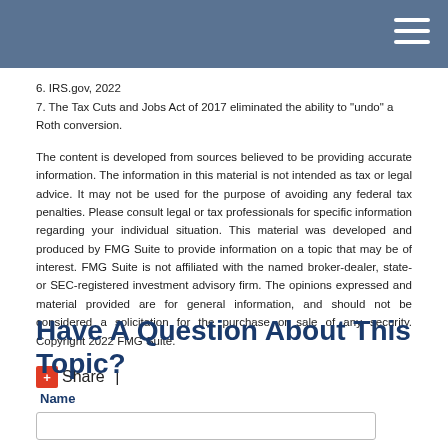6. IRS.gov, 2022
7. The Tax Cuts and Jobs Act of 2017 eliminated the ability to "undo" a Roth conversion.
The content is developed from sources believed to be providing accurate information. The information in this material is not intended as tax or legal advice. It may not be used for the purpose of avoiding any federal tax penalties. Please consult legal or tax professionals for specific information regarding your individual situation. This material was developed and produced by FMG Suite to provide information on a topic that may be of interest. FMG Suite is not affiliated with the named broker-dealer, state- or SEC-registered investment advisory firm. The opinions expressed and material provided are for general information, and should not be considered a solicitation for the purchase or sale of any security. Copyright 2022 FMG Suite.
Share |
Have A Question About This Topic?
Name